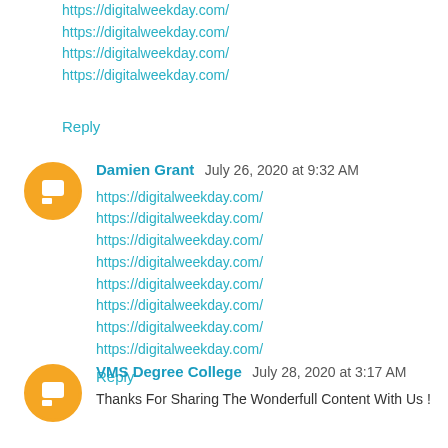https://digitalweekday.com/
https://digitalweekday.com/
https://digitalweekday.com/
https://digitalweekday.com/
Reply
Damien Grant  July 26, 2020 at 9:32 AM
https://digitalweekday.com/
https://digitalweekday.com/
https://digitalweekday.com/
https://digitalweekday.com/
https://digitalweekday.com/
https://digitalweekday.com/
https://digitalweekday.com/
https://digitalweekday.com/
Reply
VMS Degree College  July 28, 2020 at 3:17 AM
Thanks For Sharing The Wonderfull Content With Us !